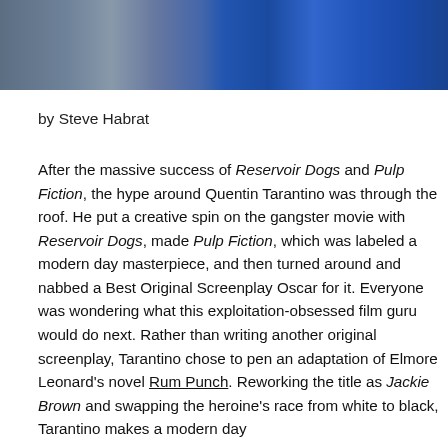[Figure (photo): Top portion of a photo showing a person in a blue outfit against a blue/grey background, cropped at the top of the page.]
by Steve Habrat
After the massive success of Reservoir Dogs and Pulp Fiction, the hype around Quentin Tarantino was through the roof. He put a creative spin on the gangster movie with Reservoir Dogs, made Pulp Fiction, which was labeled a modern day masterpiece, and then turned around and nabbed a Best Original Screenplay Oscar for it. Everyone was wondering what this exploitation-obsessed film guru would do next. Rather than writing another original screenplay, Tarantino chose to pen an adaptation of Elmore Leonard’s novel Rum Punch. Reworking the title as Jackie Brown and swapping the heroine’s race from white to black, Tarantino makes a modern day blaxploitation film that actually manages to achieve...